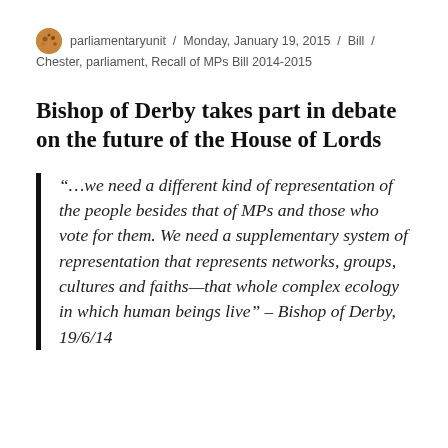parliamentaryunit / Monday, January 19, 2015 / Bill / Chester, parliament, Recall of MPs Bill 2014-2015
Bishop of Derby takes part in debate on the future of the House of Lords
“…we need a different kind of representation of the people besides that of MPs and those who vote for them. We need a supplementary system of representation that represents networks, groups, cultures and faiths—that whole complex ecology in which human beings live” – Bishop of Derby, 19/6/14